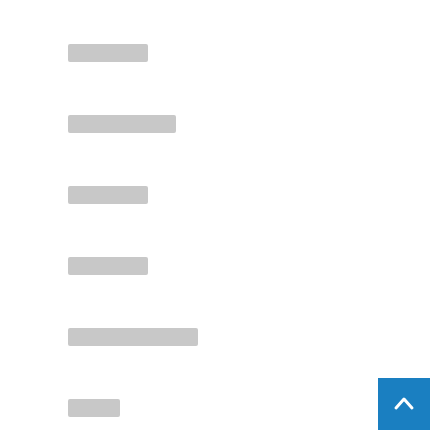[redacted]
[redacted]
[redacted]
[redacted]
[redacted]
[redacted]
69
[redacted]
[redacted]
[redacted]
[redacted]